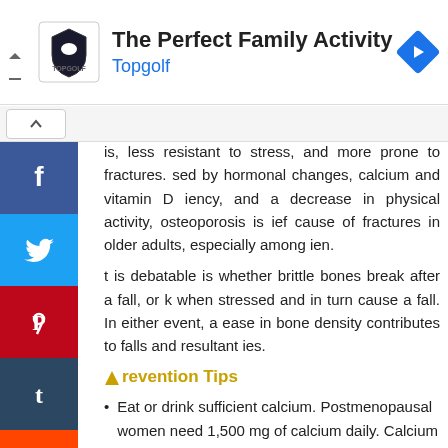[Figure (other): Advertisement banner for Topgolf with logo, title 'The Perfect Family Activity', subtitle 'Topgolf', and navigation arrow icon]
is, less resistant to stress, and more prone to fractures. sed by hormonal changes, calcium and vitamin D iency, and a decrease in physical activity, osteoporosis is ief cause of fractures in older adults, especially among ien.
t is debatable is whether brittle bones break after a fall, or k when stressed and in turn cause a fall. In either event, a ease in bone density contributes to falls and resultant ies.
Prevention Tips
Eat or drink sufficient calcium. Postmenopausal women need 1,500 mg of calcium daily. Calcium rich foods